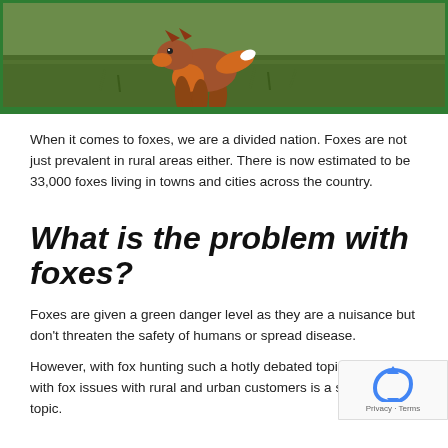[Figure (photo): A red fox walking on grass, viewed from a slightly elevated angle, with green grass and sticks in the background. The image has a green border/frame.]
When it comes to foxes, we are a divided nation. Foxes are not just prevalent in rural areas either. There is now estimated to be 33,000 foxes living in towns and cities across the country.
What is the problem with foxes?
Foxes are given a green danger level as they are a nuisance but don't threaten the safety of humans or spread disease.
However, with fox hunting such a hotly debated topic, working with fox issues with rural and urban customers is a sensitive topic.